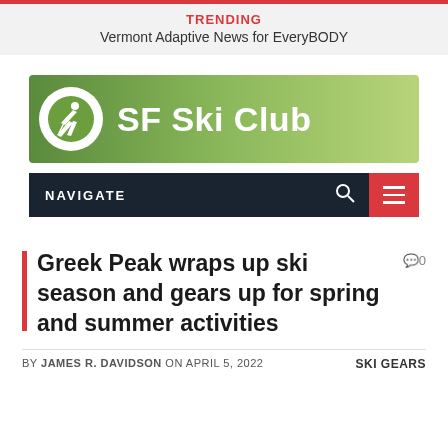TRENDING
Vermont Adaptive News for EveryBODY
[Figure (logo): SF Ski Club logo banner with skier icon and text 'SF Ski Club' on green gradient background]
NAVIGATE
Greek Peak wraps up ski season and gears up for spring and summer activities
BY JAMES R. DAVIDSON ON APRIL 5, 2022  SKI GEARS